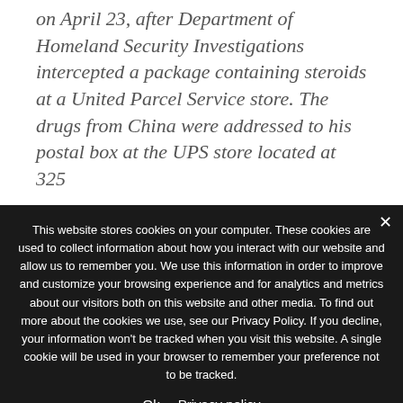on April 23, after Department of Homeland Security Investigations intercepted a package containing steroids at a United Parcel Service store. The drugs from China were addressed to his postal box at the UPS store located at 325
This website stores cookies on your computer. These cookies are used to collect information about how you interact with our website and allow us to remember you. We use this information in order to improve and customize your browsing experience and for analytics and metrics about our visitors both on this website and other media. To find out more about the cookies we use, see our Privacy Policy. If you decline, your information won't be tracked when you visit this website. A single cookie will be used in your browser to remember your preference not to be tracked.
Ok   Privacy policy